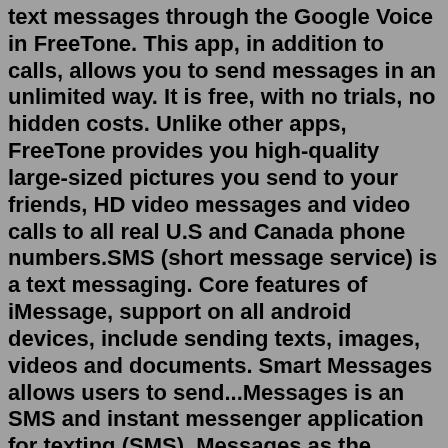text messages through the Google Voice in FreeTone. This app, in addition to calls, allows you to send messages in an unlimited way. It is free, with no trials, no hidden costs. Unlike other apps, FreeTone provides you high-quality large-sized pictures you send to your friends, HD video messages and video calls to all real U.S and Canada phone numbers.SMS (short message service) is a text messaging. Core features of iMessage, support on all android devices, include sending texts, images, videos and documents. Smart Messages allows users to send...Messages is an SMS and instant messenger application for texting (SMS). Messages as the default SMS app like google text. AI SMS Messaging App, you can communicate with anyone. Connect with friends... Top 10 Best SMS Android Apps 2022 Downloads. Below is a little more information on each app, a suggestion for the type of user the app is best suited to, and a direct link for easy downloading.Make Money OnlineMoney SMS App Money SMS is a free android app that enables you to make money online automatically by receiving